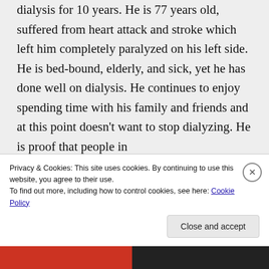dialysis for 10 years. He is 77 years old, suffered from heart attack and stroke which left him completely paralyzed on his left side. He is bed-bound, elderly, and sick, yet he has done well on dialysis. He continues to enjoy spending time with his family and friends and at this point doesn't want to stop dialyzing. He is proof that people in
Privacy & Cookies: This site uses cookies. By continuing to use this website, you agree to their use.
To find out more, including how to control cookies, see here: Cookie Policy
Close and accept